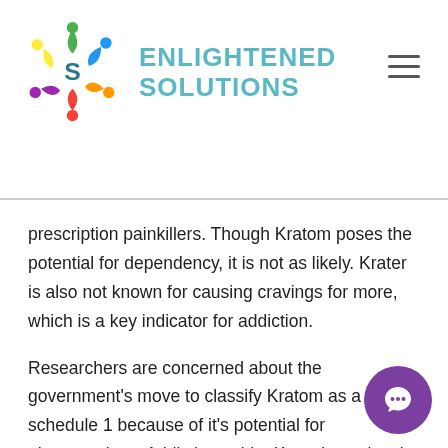ENLIGHTENED SOLUTIONS
prescription painkillers. Though Kratom poses the potential for dependency, it is not as likely. Krater is also not known for causing cravings for more, which is a key indicator for addiction.
Researchers are concerned about the government's move to classify Kratom as a schedule 1 because of it's potential for pharmacology. Addiction aside, Krater's analgesic effects, while being a relatively harmless natural drug, could hold revolutionary potential for treating